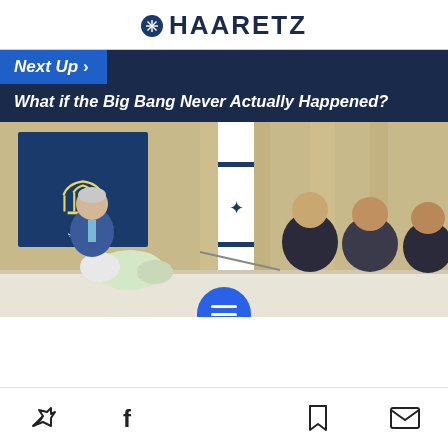HAARETZ
Next Up >
What if the Big Bang Never Actually Happened?
[Figure (photo): Meeting scene showing a man in a blue suit seated at a table with flowers and a menorah, with Israeli flags and a Menorah state emblem in background, several men in suits seated across the table.]
Twitter | Facebook | Menu | Bookmark | Email